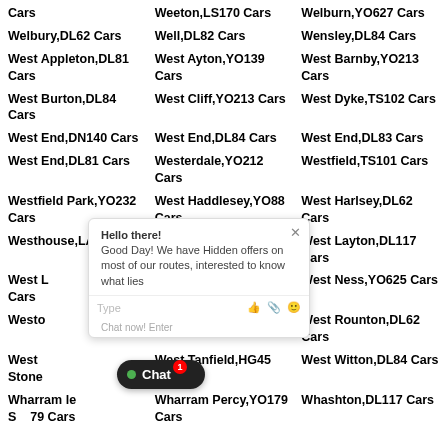Cars
Weeton,LS170 Cars
Welburn,YO627 Cars
Welbury,DL62 Cars
Well,DL82 Cars
Wensley,DL84 Cars
West Appleton,DL81 Cars
West Ayton,YO139 Cars
West Barnby,YO213 Cars
West Burton,DL84 Cars
West Cliff,YO213 Cars
West Dyke,TS102 Cars
West End,DN140 Cars
West End,DL84 Cars
West End,DL83 Cars
West End,DL81 Cars
Westerdale,YO212 Cars
Westfield,TS101 Cars
Westfield Park,YO232 Cars
West Haddlesey,YO88 Cars
West Harlsey,DL62 Cars
Westhouse,LA63 Cars
West Knapton,YO178 Cars
West Layton,DL117 Cars
West Lutton,YO179 Cars
West Marton,BD233 Cars
West Ness,YO625 Cars
Weston,LS212 Cars
West Park,HG11 Cars
West Rounton,DL62 Cars
West Scrafton,DL84 Cars
West Tanfield,HG45 Cars
West Witton,DL84 Cars
Stonegate,YO179 Cars
Wharram le Street,YO179 Cars
Wharram Percy,YO179 Cars
Whashton,DL117 Cars